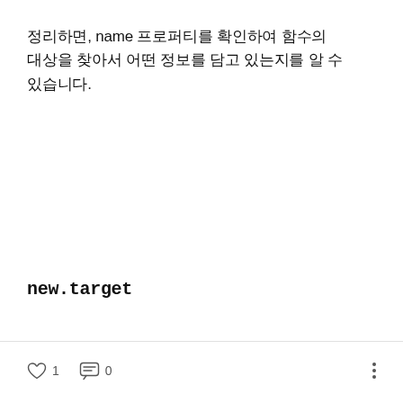정리하면, name 프로퍼티를 확인하여 함수의 대상을 찾아서 어떤 정보를 담고 있는지를 알 수 있습니다.
new.target
1  0  ⋮